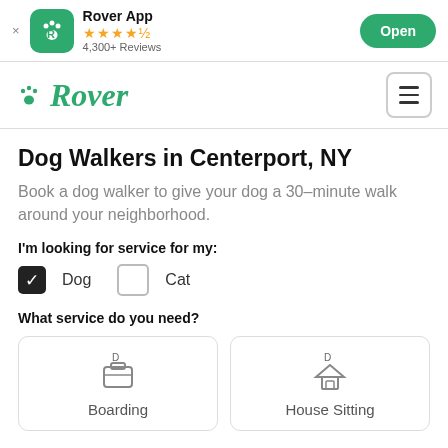[Figure (screenshot): Rover App banner with app icon, star rating, review count, and Open button]
[Figure (logo): Rover logo with paw print icon and hamburger menu]
Dog Walkers in Centerport, NY
Book a dog walker to give your dog a 30-minute walk around your neighborhood.
I'm looking for service for my:
Dog (checked), Cat (unchecked)
What service do you need?
[Figure (infographic): Service selection cards: Boarding and House Sitting with icons]